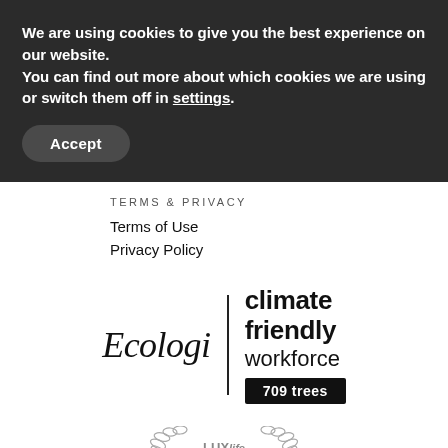We are using cookies to give you the best experience on our website.
You can find out more about which cookies we are using or switch them off in settings.
Accept
TERMS & PRIVACY
Terms of Use
Privacy Policy
[Figure (logo): Ecologi climate friendly workforce 709 trees badge logo]
[Figure (logo): LUXlife Health Beauty award badge logo, partially visible]